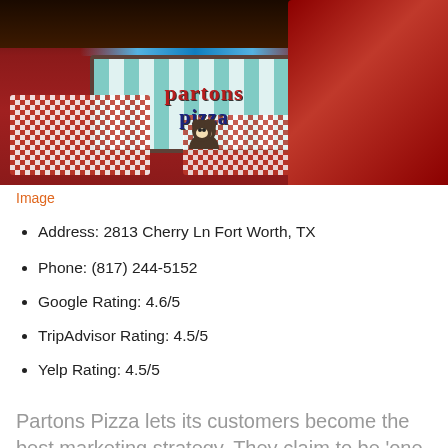[Figure (photo): Interior photo of Partons Pizza restaurant showing checkered tablecloths, red vinyl booths, and the Partons Pizza sign with cartoon cows on a teal striped background]
Image
Address: 2813 Cherry Ln Fort Worth, TX
Phone: (817) 244-5152
Google Rating: 4.6/5
TripAdvisor Rating: 4.5/5
Yelp Rating: 4.5/5
Partons Pizza lets its customers become the best marketing strategy. They claim to be 'one